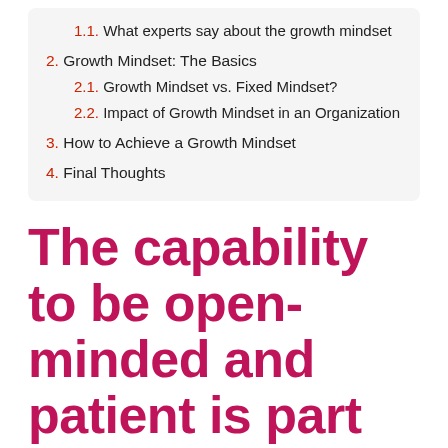1.1. What experts say about the growth mindset
2. Growth Mindset: The Basics
2.1. Growth Mindset vs. Fixed Mindset?
2.2. Impact of Growth Mindset in an Organization
3. How to Achieve a Growth Mindset
4. Final Thoughts
The capability to be open-minded and patient is part of